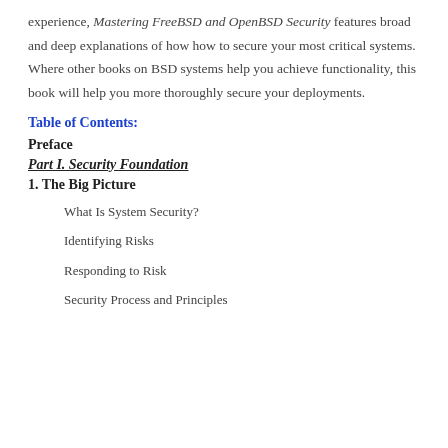experience, Mastering FreeBSD and OpenBSD Security features broad and deep explanations of how how to secure your most critical systems. Where other books on BSD systems help you achieve functionality, this book will help you more thoroughly secure your deployments.
Table of Contents:
Preface
Part I. Security Foundation
1. The Big Picture
What Is System Security?
Identifying Risks
Responding to Risk
Security Process and Principles